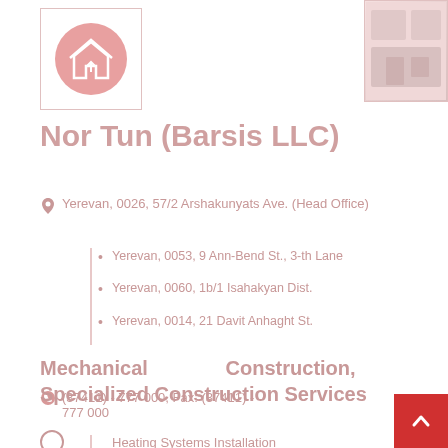[Figure (logo): Circular red/pink logo with house icon]
[Figure (photo): Small building interior photo top right]
Nor Tun (Barsis LLC)
Yerevan, 0026, 57/2 Arshakunyats Ave. (Head Office)
Yerevan, 0053, 9 Ann-Bend St., 3-th Lane
Yerevan, 0060, 1b/1 Isahakyan Dist.
Yerevan, 0014, 21 Davit Anhaght St.
(37411) - 777 000, Fax: (37411) - 777 000
Mechanical Construction, Specialized Construction Services
Heating Systems Installation